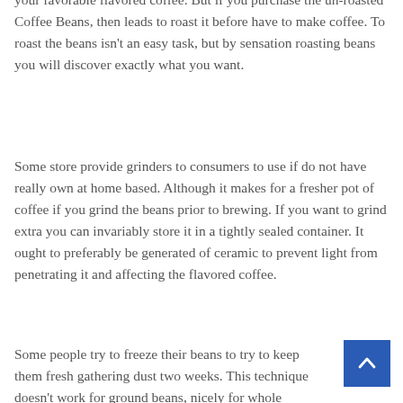your favorable flavored coffee. But if you purchase the un-roasted Coffee Beans, then leads to roast it before have to make coffee. To roast the beans isn't an easy task, but by sensation roasting beans you will discover exactly what you want.
Some store provide grinders to consumers to use if do not have really own at home based. Although it makes for a fresher pot of coffee if you grind the beans prior to brewing. If you want to grind extra you can invariably store it in a tightly sealed container. It ought to preferably be generated of ceramic to prevent light from penetrating it and affecting the flavored coffee.
Some people try to freeze their beans to try to keep them fresh gathering dust two weeks. This technique doesn't work for ground beans, nicely for whole beans, you'll want